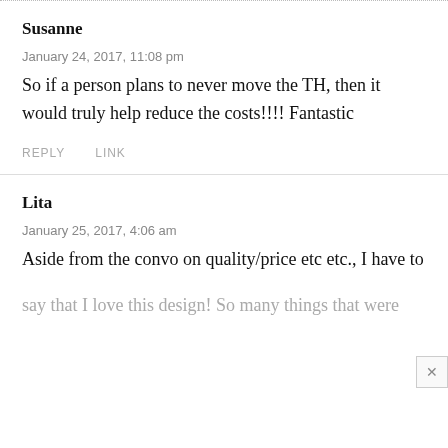Susanne
January 24, 2017, 11:08 pm
So if a person plans to never move the TH, then it would truly help reduce the costs!!!! Fantastic
REPLY   LINK
Lita
January 25, 2017, 4:06 am
Aside from the convo on quality/price etc etc., I have to say that I love this design! So many things that were